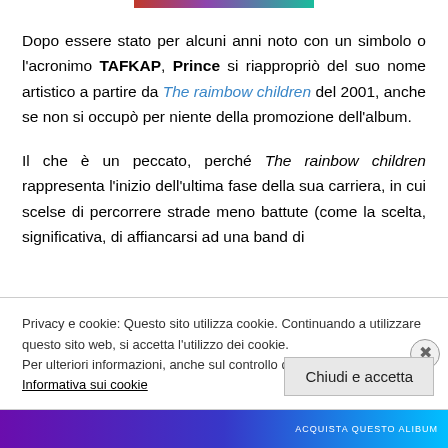Dopo essere stato per alcuni anni noto con un simbolo o l'acronimo TAFKAP, Prince si riappropriò del suo nome artistico a partire da The raimbow children del 2001, anche se non si occupò per niente della promozione dell'album.
Il che è un peccato, perché The rainbow children rappresenta l'inizio dell'ultima fase della sua carriera, in cui scelse di percorrere strade meno battute (come la scelta, significativa, di affiancarsi ad una band di
Privacy e cookie: Questo sito utilizza cookie. Continuando a utilizzare questo sito web, si accetta l'utilizzo dei cookie.
Per ulteriori informazioni, anche sul controllo dei cookie, leggi qui:
Informativa sui cookie
Chiudi e accetta